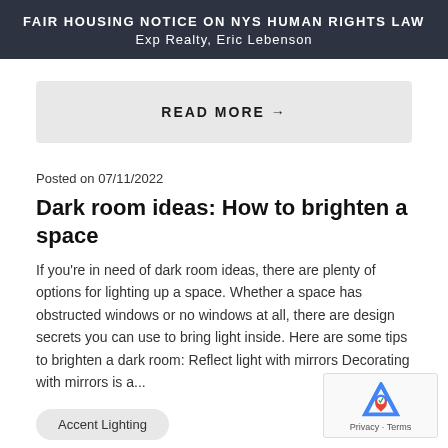FAIR HOUSING NOTICE ON NYS HUMAN RIGHTS LAW
Exp Realty, Eric Lebenson
READ MORE →
Posted on 07/11/2022
Dark room ideas: How to brighten a space
If you're in need of dark room ideas, there are plenty of options for lighting up a space. Whether a space has obstructed windows or no windows at all, there are design secrets you can use to bring light inside. Here are some tips to brighten a dark room: Reflect light with mirrors Decorating with mirrors is a...
Accent Lighting
Ambient lighting